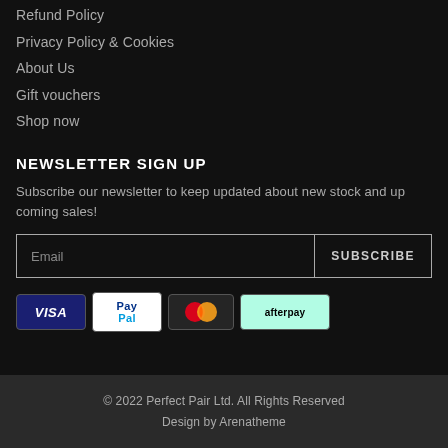Refund Policy
Privacy Policy & Cookies
About Us
Gift vouchers
Shop now
NEWSLETTER SIGN UP
Subscribe our newsletter to keep updated about new stock and up coming sales!
[Figure (other): Email input field and SUBSCRIBE button side by side]
[Figure (other): Payment method icons: VISA, PayPal, Mastercard, Afterpay]
© 2022 Perfect Pair Ltd. All Rights Reserved
Design by Arenatheme